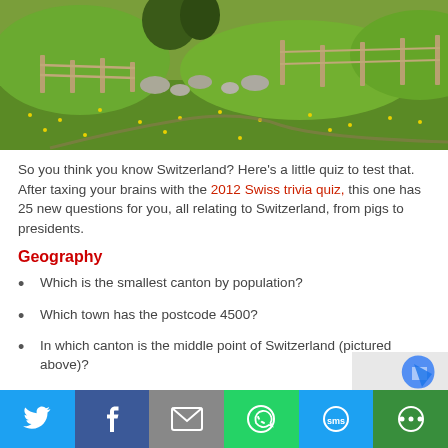[Figure (photo): Landscape photo of a Swiss alpine meadow with wooden fences, rocks, and green grass with yellow wildflowers.]
So you think you know Switzerland? Here's a little quiz to test that. After taxing your brains with the 2012 Swiss trivia quiz, this one has 25 new questions for you, all relating to Switzerland, from pigs to presidents.
Geography
Which is the smallest canton by population?
Which town has the postcode 4500?
In which canton is the middle point of Switzerland (pictured above)?